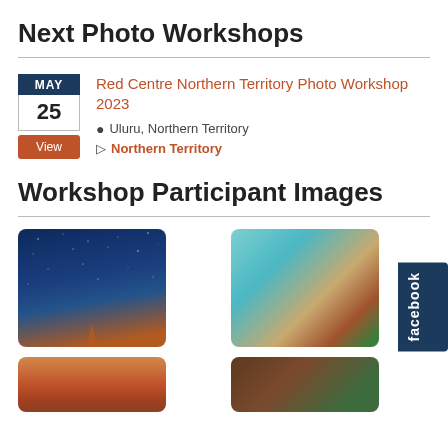Next Photo Workshops
Red Centre Northern Territory Photo Workshop 2023
Uluru, Northern Territory
Northern Territory
Workshop Participant Images
[Figure (photo): Night sky with Milky Way over a dark silhouette landscape]
[Figure (photo): Aerial view of tidal flats with turquoise water, sandy channels and green vegetation]
[Figure (photo): Red rocky mountain landscape at dusk]
[Figure (photo): Close-up of a person or animal in natural setting]